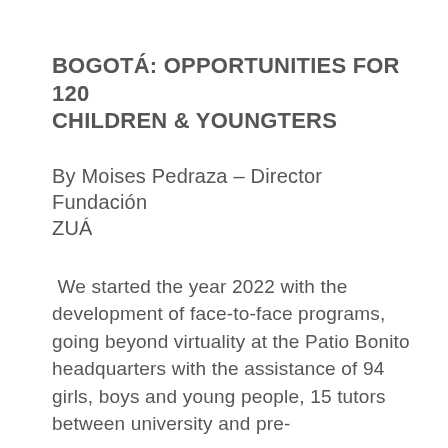BOGOTÁ: OPPORTUNITIES FOR 120 CHILDREN & YOUNGTERS
By Moises Pedraza – Director Fundación ZUÁ
We started the year 2022 with the development of face-to-face programs, going beyond virtuality at the Patio Bonito headquarters with the assistance of 94 girls, boys and young people, 15 tutors between university and pre-